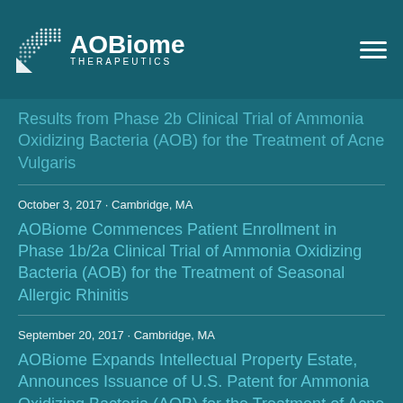[Figure (logo): AOBiome Therapeutics logo with dot-grid circular icon and text]
Results from Phase 2b Clinical Trial of Ammonia Oxidizing Bacteria (AOB) for the Treatment of Acne Vulgaris
October 3, 2017 · Cambridge, MA
AOBiome Commences Patient Enrollment in Phase 1b/2a Clinical Trial of Ammonia Oxidizing Bacteria (AOB) for the Treatment of Seasonal Allergic Rhinitis
September 20, 2017 · Cambridge, MA
AOBiome Expands Intellectual Property Estate, Announces Issuance of U.S. Patent for Ammonia Oxidizing Bacteria (AOB) for the Treatment of Acne